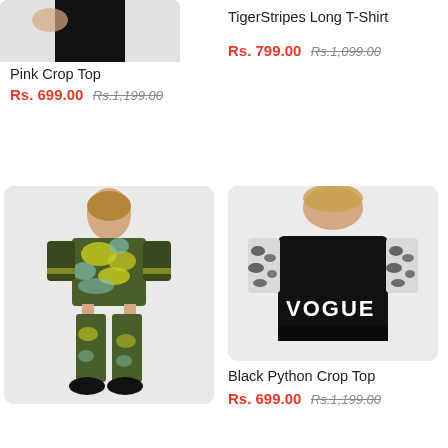[Figure (photo): Partial view of Pink Crop Top product image (cropped at top, showing lower portion)]
Pink Crop Top
Rs. 699.00 Rs.1,199.00
TigerStripes Long T-Shirt
Rs. 799.00 Rs.1,099.00
[Figure (photo): Full-length photo of model wearing camouflage yellow-green and dark green crop top and leggings set]
[Figure (photo): Photo of model wearing black crop top with giraffe-print sleeves, VOGUE text on front]
Black Python Crop Top
Rs. 699.00 Rs.1,199.00